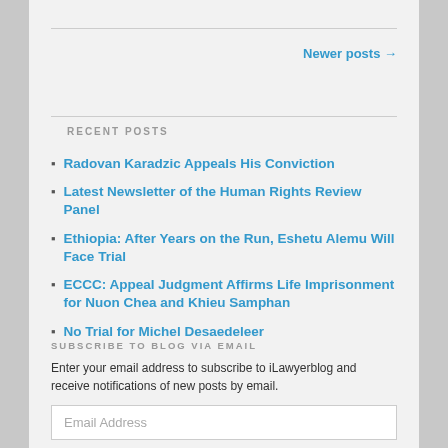Newer posts →
RECENT POSTS
Radovan Karadzic Appeals His Conviction
Latest Newsletter of the Human Rights Review Panel
Ethiopia: After Years on the Run, Eshetu Alemu Will Face Trial
ECCC: Appeal Judgment Affirms Life Imprisonment for Nuon Chea and Khieu Samphan
No Trial for Michel Desaedeleer
SUBSCRIBE TO BLOG VIA EMAIL
Enter your email address to subscribe to iLawyerblog and receive notifications of new posts by email.